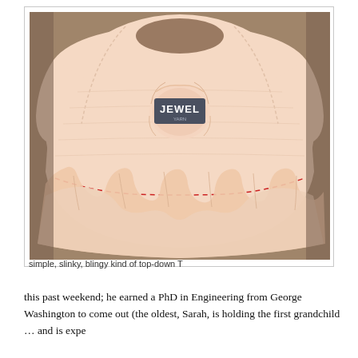[Figure (photo): A cream/peach colored knitted top-down T sweater laid flat, with a ball of yarn labeled 'JEWEL' placed in the center. The bottom edge of the sweater has gathered/ruffled knitting with visible red basting stitches along a curved line.]
simple, slinky, blingy kind of top-down T
this past weekend; he earned a PhD in Engineering from George Washington to come out (the oldest, Sarah, is holding the first grandchild … and is expe